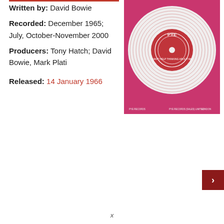Written by: David Bowie
Recorded: December 1965; July, October-November 2000
Producers: Tony Hatch; David Bowie, Mark Plati
Released: 14 January 1966
[Figure (photo): A red vinyl 7-inch single on a PYE Records label, sitting on a magenta/pink record sleeve. The PYE logo is visible on the white label of the record.]